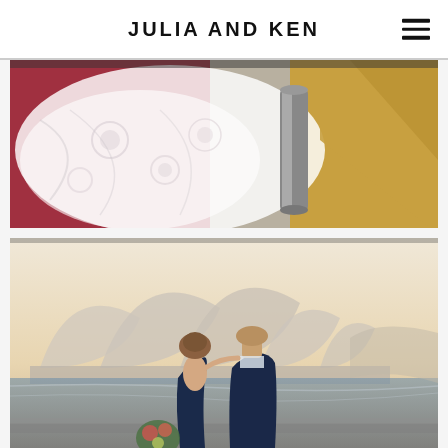JULIA AND KEN
[Figure (photo): Close-up of a white lace wedding dress laid out, with red and gold ship/venue details in the background]
[Figure (photo): Couple viewed from behind, bride in navy backless gown with updo holding bouquet, groom in navy suit, with Sydney Opera House in background at golden hour]